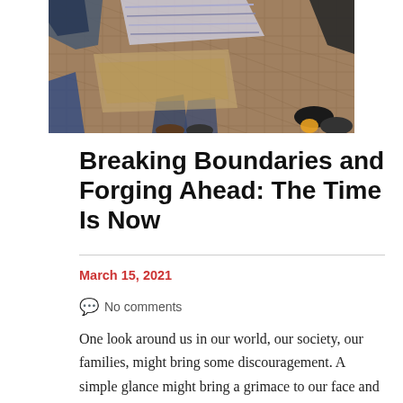[Figure (photo): Overhead or angled photo showing people sitting or standing on a patterned carpet/floor, with items spread on the ground. The image shows legs, shoes, and fabric items.]
Breaking Boundaries and Forging Ahead: The Time Is Now
March 15, 2021
No comments
One look around us in our world, our society, our families, might bring some discouragement. A simple glance might bring a grimace to our face and a whisper of prayer to our lips.